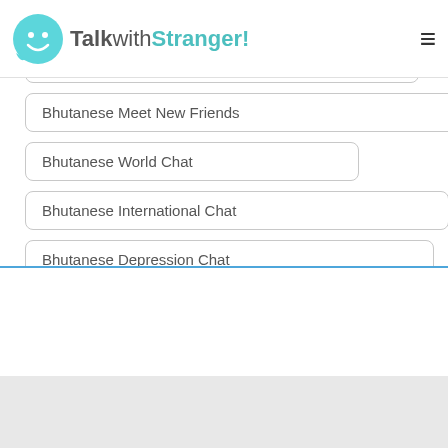TalkwithStranger!
Bhutanese Free Online Chat
Bhutanese Meet New Friends
Bhutanese World Chat
Bhutanese International Chat
Bhutanese Depression Chat
Bhutanese TWS Chat Avenue
Bhutanese Things to Talk About
Bhutanese Free Chat Now